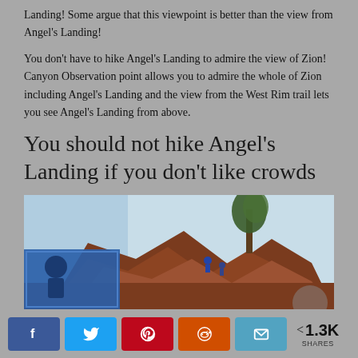Landing! Some argue that this viewpoint is better than the view from Angel's Landing!
You don't have to hike Angel's Landing to admire the view of Zion! Canyon Observation point allows you to admire the whole of Zion including Angel's Landing and the view from the West Rim trail lets you see Angel's Landing from above.
You should not hike Angel's Landing if you don't like crowds
[Figure (photo): Photo of Angel's Landing area showing red rock formations, a tree, hikers on the trail, and a blue information sign in the lower left corner, with a light blue sky in the background.]
< 1.3K SHARES (social share buttons: Facebook, Twitter, Pinterest, Reddit, Email)